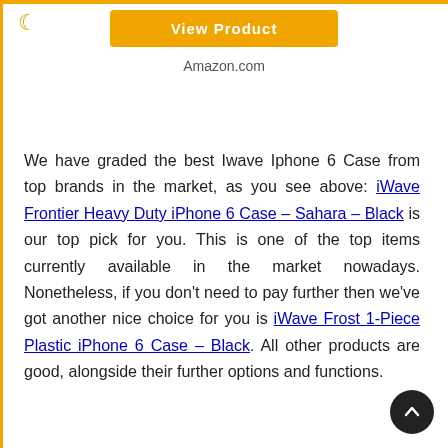View Product
Amazon.com
We have graded the best Iwave Iphone 6 Case from top brands in the market, as you see above: iWave Frontier Heavy Duty iPhone 6 Case – Sahara – Black is our top pick for you. This is one of the top items currently available in the market nowadays. Nonetheless, if you don't need to pay further then we've got another nice choice for you is iWave Frost 1-Piece Plastic iPhone 6 Case – Black. All other products are good, alongside their further options and functions.